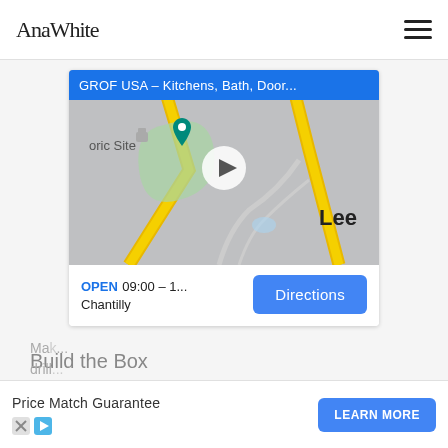AnaWhite
[Figure (screenshot): Google Maps embed showing GROF USA - Kitchens, Bath, Door... location near Chantilly, with road map, a play button overlay, and a Directions button. Shows OPEN 09:00 - 1... and city Chantilly.]
Build the Box
Price Match Guarantee
LEARN MORE